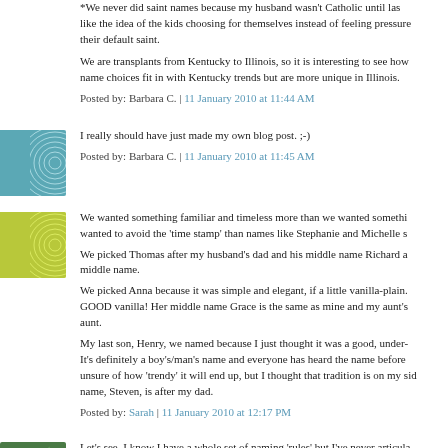*We never did saint names because my husband wasn't Catholic until last... like the idea of the kids choosing for themselves instead of feeling pressure... their default saint.
We are transplants from Kentucky to Illinois, so it is interesting to see how name choices fit in with Kentucky trends but are more unique in Illinois.
Posted by: Barbara C. | 11 January 2010 at 11:44 AM
I really should have just made my own blog post. ;-)
Posted by: Barbara C. | 11 January 2010 at 11:45 AM
We wanted something familiar and timeless more than we wanted somethi... wanted to avoid the 'time stamp' than names like Stephanie and Michelle s...
We picked Thomas after my husband's dad and his middle name Richard a... middle name.
We picked Anna because it was simple and elegant, if a little vanilla-plain. ...GOOD vanilla! Her middle name Grace is the same as mine and my aunt's... aunt.
My last son, Henry, we named because I just thought it was a good, under-... It's definitely a boy's/man's name and everyone has heard the name before... unsure of how 'trendy' it will end up, but I thought that tradition is on my sid... name, Steven, is after my dad.
Posted by: Sarah | 11 January 2010 at 12:17 PM
Let's see. I know I have a whole set of naming 'rules' but I've never articula... such...not even to myself.